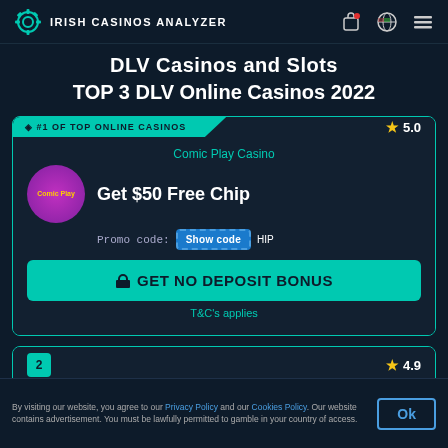IRISH CASINOS ANALYZER
DLV Casinos and Slots
TOP 3 DLV Online Casinos 2022
#1 OF TOP ONLINE CASINOS — 5.0
Comic Play Casino — Get $50 Free Chip — Promo code: Show code HIP
GET NO DEPOSIT BONUS
T&C's applies
2 — Shazam Casino — 4.9
By visiting our website, you agree to our Privacy Policy and our Cookies Policy. Our website contains advertisement. You must be lawfully permitted to gamble in your country of access.